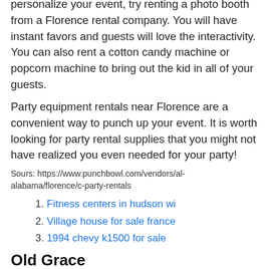personalize your event, try renting a photo booth from a Florence rental company. You will have instant favors and guests will love the interactivity. You can also rent a cotton candy machine or popcorn machine to bring out the kid in all of your guests.
Party equipment rentals near Florence are a convenient way to punch up your event. It is worth looking for party rental supplies that you might not have realized you even needed for your party!
Sours: https://www.punchbowl.com/vendors/al-alabama/florence/c-party-rentals
Fitness centers in hudson wi
Village house for sale france
1994 chevy k1500 for sale
Old Grace